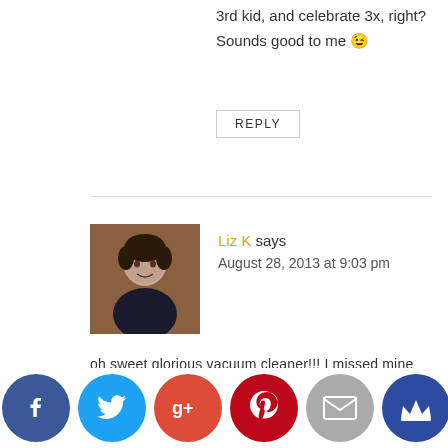3rd kid, and celebrate 3x, right? Sounds good to me 😉
REPLY
Liz K says
August 28, 2013 at 9:03 pm
oh sweet glorious vacuum cleaner!!! I missed mine so much when we were in language school!!! And then when my mom and dad came in April they brought mine from the States!!! I was soooo excited! So happy for you!
[Figure (infographic): Social sharing icons bar at bottom: Facebook (dark blue), Twitter (light blue), Google+ (red-orange), Pinterest (dark red), Email (gray), Crown/other (dark blue)]